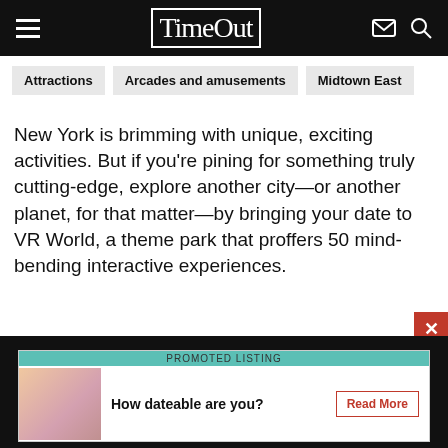TimeOut
Attractions
Arcades and amusements
Midtown East
New York is brimming with unique, exciting activities. But if you're pining for something truly cutting-edge, explore another city—or another planet, for that matter—by bringing your date to VR World, a theme park that proffers 50 mind-bending interactive experiences.
Read more
Book online
PROMOTED LISTING
How dateable are you?
Read More